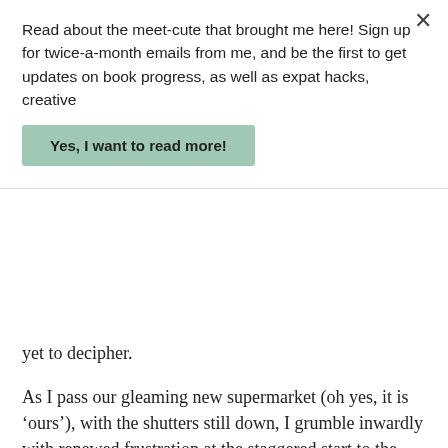Read about the meet-cute that brought me here! Sign up for twice-a-month emails from me, and be the first to get updates on book progress, as well as expat hacks, creative
Yes, I want to read more!
yet to decipher.
As I pass our gleaming new supermarket (oh yes, it is 'ours'), with the shutters still down, I grumble inwardly with renewed frustration at the staggered start to the day. At work, meetings in some departments start as early as 7am, and the school bell rings at 7.45am. But no shop is open before 8.30, so there's no handy option to do a quick grocery stop on the way home after drop-off; either wait around for